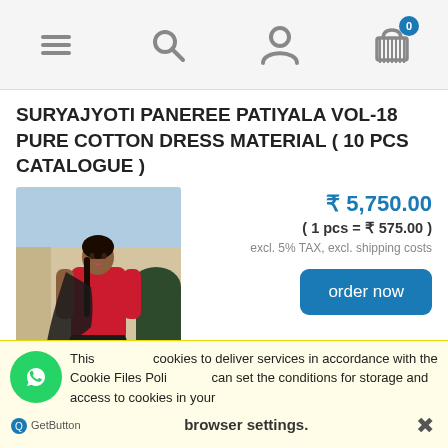Navigation bar with menu, search, account, and cart (0 items) icons
SURYAJYOTI PANEREE PATIYALA VOL-18 PURE COTTON DRESS MATERIAL ( 10 PCS CATALOGUE )
[Figure (photo): Woman wearing red salwar kameez with black dupatta and black patiala pants, standing outdoors against a light-colored wall]
₹ 5,750.00
( 1 pcs = ₹ 575.00 )
excl. 5% TAX, excl. shipping costs
order now
Suryajyoti Parizad Vol 1 Cotton Dress Material ( 8
This site uses cookies to deliver services in accordance with the Cookie Files Policy. You can set the conditions for storage and access to cookies in your browser settings.